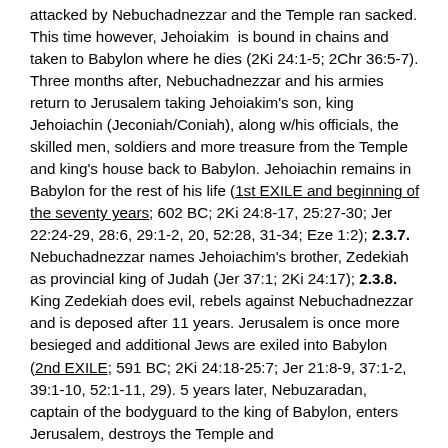attacked by Nebuchadnezzar and the Temple ran sacked. This time however, Jehoiakim is bound in chains and taken to Babylon where he dies (2Ki 24:1-5; 2Chr 36:5-7). Three months after, Nebuchadnezzar and his armies return to Jerusalem taking Jehoiakim's son, king Jehoiachin (Jeconiah/Coniah), along w/his officials, the skilled men, soldiers and more treasure from the Temple and king's house back to Babylon. Jehoiachin remains in Babylon for the rest of his life (1st EXILE and beginning of the seventy years; 602 BC; 2Ki 24:8-17, 25:27-30; Jer 22:24-29, 28:6, 29:1-2, 20, 52:28, 31-34; Eze 1:2); 2.3.7. Nebuchadnezzar names Jehoiachim's brother, Zedekiah as provincial king of Judah (Jer 37:1; 2Ki 24:17); 2.3.8. King Zedekiah does evil, rebels against Nebuchadnezzar and is deposed after 11 years. Jerusalem is once more besieged and additional Jews are exiled into Babylon (2nd EXILE; 591 BC; 2Ki 24:18-25:7; Jer 21:8-9, 37:1-2, 39:1-10, 52:1-11, 29). 5 years later, Nebuzaradan, captain of the bodyguard to the king of Babylon, enters Jerusalem, destroys the Temple and